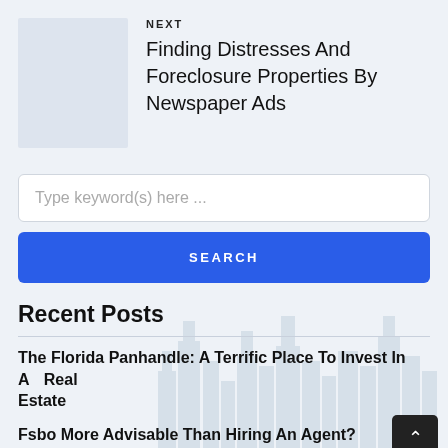NEXT
Finding Distresses And Foreclosure Properties By Newspaper Ads
Type keyword(s) here ...
SEARCH
Recent Posts
The Florida Panhandle: A Terrific Place To Invest In And Estate
Fsbo More Advisable Than Hiring An Agent?